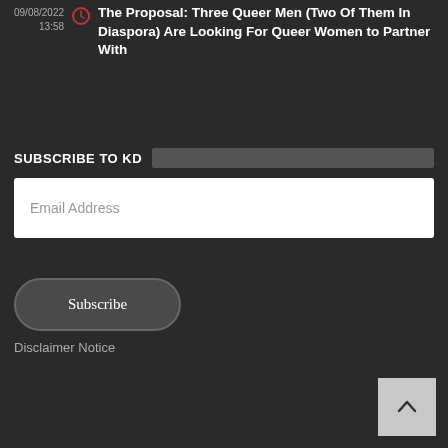09/08/2022 13:58
The Proposal: Three Queer Men (Two Of Them In Diaspora) Are Looking For Queer Women to Partner With
SUBSCRIBE TO KD
Email Address
Subscribe
Disclaimer Notice